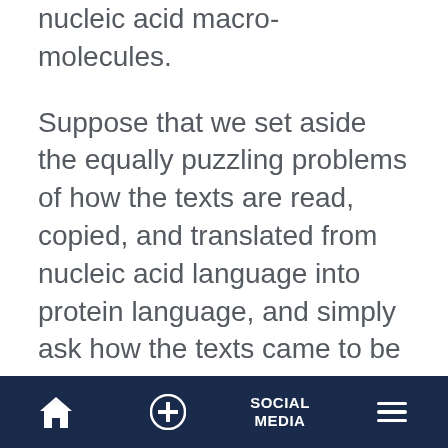nucleic acid macro-molecules.
Suppose that we set aside the equally puzzling problems of how the texts are read, copied, and translated from nucleic acid language into protein language, and simply ask how the texts came to be written in the first place. The difficulty is something like explaining the origin of a library of books. The problem is the words and their orderliness. To obtain a book there must first be an intelligence.
Home | + | SOCIAL MEDIA | Menu